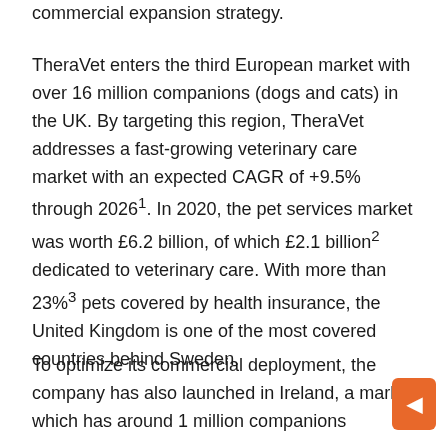commercial expansion strategy.
TheraVet enters the third European market with over 16 million companions (dogs and cats) in the UK. By targeting this region, TheraVet addresses a fast-growing veterinary care market with an expected CAGR of +9.5% through 2026¹. In 2020, the pet services market was worth £6.2 billion, of which £2.1 billion² dedicated to veterinary care. With more than 23%³ pets covered by health insurance, the United Kingdom is one of the most covered countries behind Sweden.
To optimize its commercial deployment, the company has also launched in Ireland, a market which has around 1 million companions…